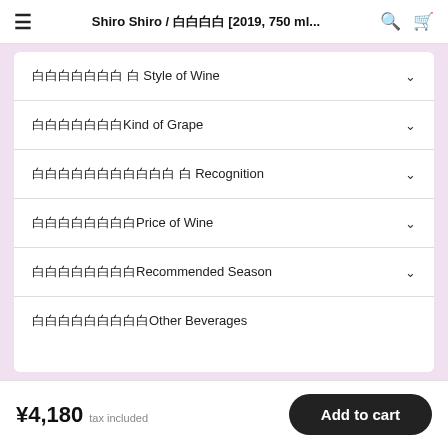Shiro Shiro / 白白白白 [2019, 750 ml...
白白白白白白白 白 Style of Wine
白白白白白白白Kind of Grape
白白白白白白白白白白白 白 Recognition
白白白白白白白白Price of Wine
白白白白白白白白Recommended Season
白白白白白白白白白Other Beverages
¥4,180 tax included
Add to cart